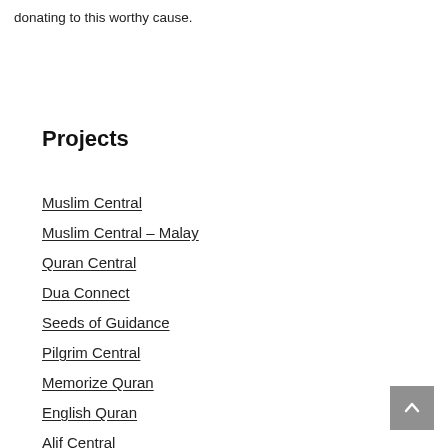donating to this worthy cause.
Projects
Muslim Central
Muslim Central – Malay
Quran Central
Dua Connect
Seeds of Guidance
Pilgrim Central
Memorize Quran
English Quran
Alif Central